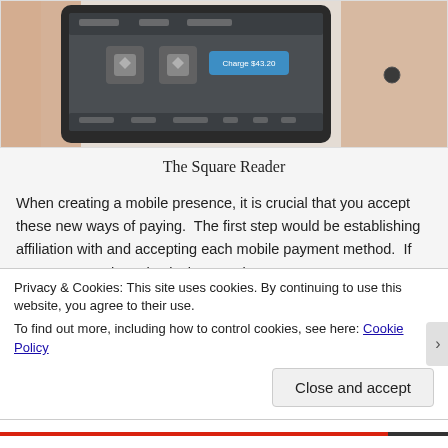[Figure (photo): A person holding a tablet displaying the Square Reader payment app interface with icons and a blue charge button.]
The Square Reader
When creating a mobile presence, it is crucial that you accept these new ways of paying.  The first step would be establishing affiliation with and accepting each mobile payment method.  If your company has physical stores, it
Privacy & Cookies: This site uses cookies. By continuing to use this website, you agree to their use.
To find out more, including how to control cookies, see here: Cookie Policy
Close and accept